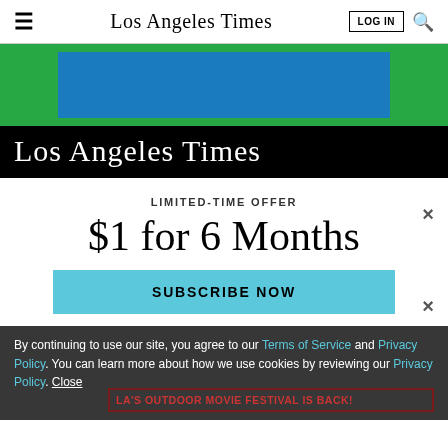Los Angeles Times | LOG IN | search
[Figure (illustration): Advertisement banner with green background and blue rectangle inside]
Los Angeles Times
LIMITED-TIME OFFER
$1 for 6 Months
SUBSCRIBE NOW
By continuing to use our site, you agree to our Terms of Service and Privacy Policy. You can learn more about how we use cookies by reviewing our Privacy Policy. Close
LA'S OUTDOOR MOVIE FESTIVAL IS BACK!